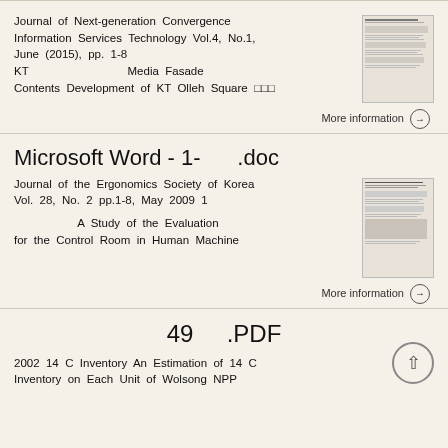Journal of Next-generation Convergence Information Services Technology Vol.4, No.1, June (2015), pp. 1-8
KT                         Media Fasade Contents Development of KT Olleh Square □□□
[Figure (other): Thumbnail preview of a document page]
More information →
Microsoft Word - 1-      .doc
Journal of the Ergonomics Society of Korea Vol. 28, No. 2 pp.1-8, May 2009 1
                        A Study of the Evaluation for the Control Room in Human Machine
[Figure (other): Thumbnail preview of a document page]
More information →
49    .PDF
2002 14 C Inventory An Estimation of 14 C Inventory on Each Unit of Wolsong NPP